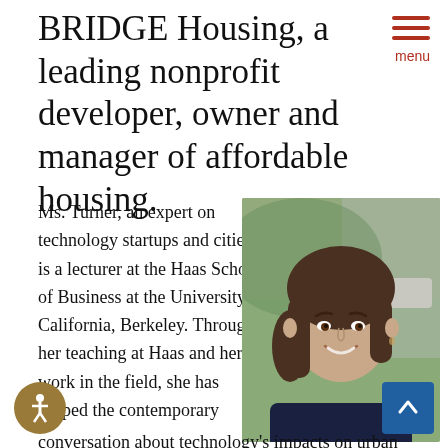BRIDGE Housing, a leading nonprofit developer, owner and manager of affordable housing.
[Figure (photo): Portrait photo of Ms. Turner, a woman with shoulder-length brown hair, smiling, wearing a dark navy top, photographed outdoors.]
Ms. Turner, an expert on technology startups and cities, is a lecturer at the Haas School of Business at the University of California, Berkeley. Through her teaching at Haas and her work in the field, she has shaped the contemporary conversation about technology's impacts on urban life and governance. At Haas, Ms. Turner teaches the popular class "Tech and the City: How to Get Urban Innovation Right" to graduate MBAs. She is also the co-instructor and co-creator of